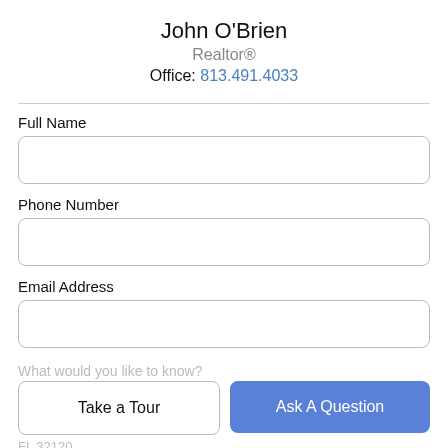John O'Brien
Realtor®
Office: 813.491.4033
Full Name
Phone Number
Email Address
What would you like to know?
Take a Tour
Ask A Question
FL 32120